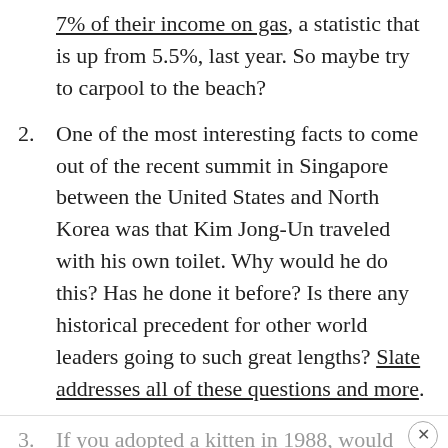7% of their income on gas, a statistic that is up from 5.5%, last year. So maybe try to carpool to the beach?
One of the most interesting facts to come out of the recent summit in Singapore between the United States and North Korea was that Kim Jong-Un traveled with his own toilet. Why would he do this? Has he done it before? Is there any historical precedent for other world leaders going to such great lengths? Slate addresses all of these questions and more.
If you adopted a kitten in 1988, would you expect to be throwing him a birthday party, 30 years later? Probably not. However, that is the reality for a woman in England and her